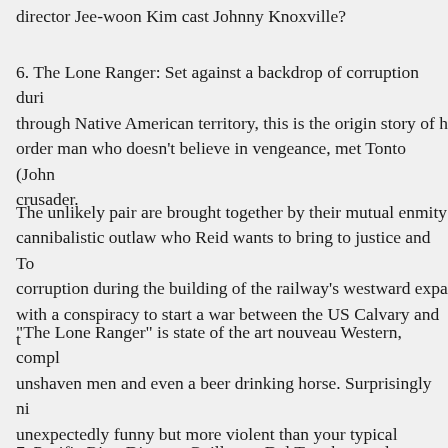director Jee-woon Kim cast Johnny Knoxville?
6. The Lone Ranger: Set against a backdrop of corruption during the building of a railway through Native American territory, this is the origin story of how John Reid, a law and order man who doesn't believe in vengeance, met Tonto (Johnny Depp) and became a masked crusader.
The unlikely pair are brought together by their mutual enmity towards Butch Cavendish, a cannibalistic outlaw who Reid wants to bring to justice and Tonto wants to kill. There is corruption during the building of the railway's westward expansion which ties in with a conspiracy to start a war between the US Calvary and the Comanches.
“The Lone Ranger” is state of the art nouveau Western, complete with flamboyant women, unshaven men and even a beer drinking horse. Surprisingly nimbly directed, it is unexpectedly funny but more violent than your typical summer blockbuster.
7. Pacific Rim: Director Guillermo Del Toro has made an end-
In the world he creates in “Pacific Rim” the planet is threatened by monsters with an appetite for destruction. Coming to our world through a breach in the ocean floor, we are losing the war against these beasts. The main of line of defense is Jaegers, giant robots that mind meld with the metal behemoths; the deeper the connecti